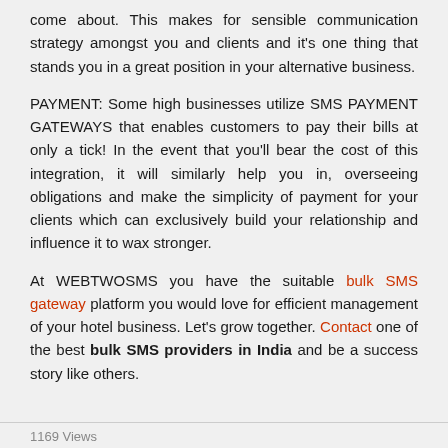come about. This makes for sensible communication strategy amongst you and clients and it's one thing that stands you in a great position in your alternative business.
PAYMENT: Some high businesses utilize SMS PAYMENT GATEWAYS that enables customers to pay their bills at only a tick! In the event that you'll bear the cost of this integration, it will similarly help you in, overseeing obligations and make the simplicity of payment for your clients which can exclusively build your relationship and influence it to wax stronger.
At WEBTWOSMS you have the suitable bulk SMS gateway platform you would love for efficient management of your hotel business. Let's grow together. Contact one of the best bulk SMS providers in India and be a success story like others.
1169 Views